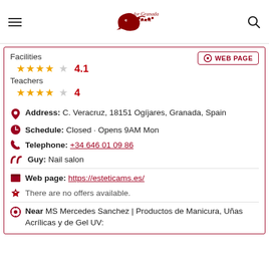for Granada Lovers (logo/navigation)
Facilities ★★★★☆ 4.1
Teachers ★★★★☆ 4
Address: C. Veracruz, 18151 Ogijares, Granada, Spain
Schedule: Closed · Opens 9AM Mon
Telephone: +34 646 01 09 86
Guy: Nail salon
Web page: https://esteticams.es/
There are no offers available.
Near MS Mercedes Sanchez | Productos de Manicura, Uñas Acrílicas y de Gel UV: